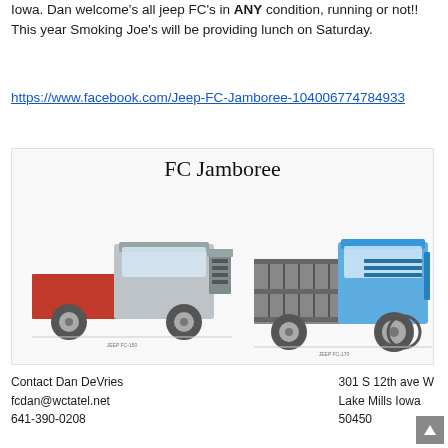Iowa. Dan welcome's all jeep FC's in ANY condition, running or not!! This year Smoking Joe's will be providing lunch on Saturday.
https://www.facebook.com/Jeep-FC-Jamboree-104006774784933
[Figure (illustration): FC Jamboree flyer image showing two classic Jeep FC trucks side by side — a red FC-150 pickup on the left and a teal/blue FC-170 stake-bed truck on the right. The title 'FC Jamboree' appears above the trucks in serif font.]
Contact Dan DeVries
fcdan@wctatel.net
641-390-0208
301 S 12th ave W
Lake Mills Iowa
50450